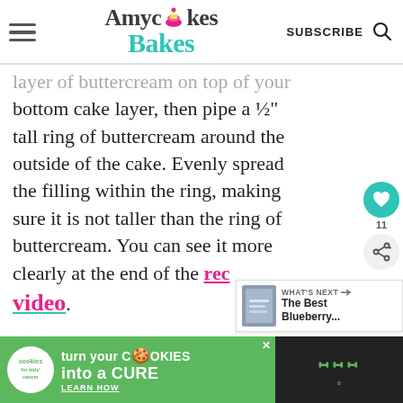AmycakesBakes — SUBSCRIBE
layer of buttercream on top of your bottom cake layer, then pipe a ½" tall ring of buttercream around the outside of the cake. Evenly spread the filling within the ring, making sure it is not taller than the ring of buttercream. You can see it more clearly at the end of the recipe video.
[Figure (screenshot): What's Next promo banner showing blueberry item]
[Figure (infographic): Cookies for Kids' Cancer advertisement: turn your cookies into a cure — learn how]